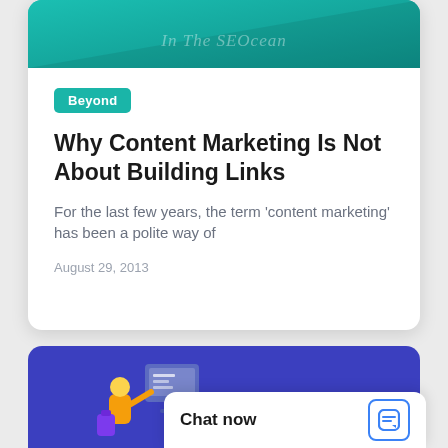[Figure (illustration): Teal/green diagonal graphic with faded text reading 'In The SEO...' — partial top card header image]
Beyond
Why Content Marketing Is Not About Building Links
For the last few years, the term ‘content marketing’ has been a polite way of
August 29, 2013
[Figure (illustration): Blue/purple card background with illustration of a person at a computer desk]
Chat now